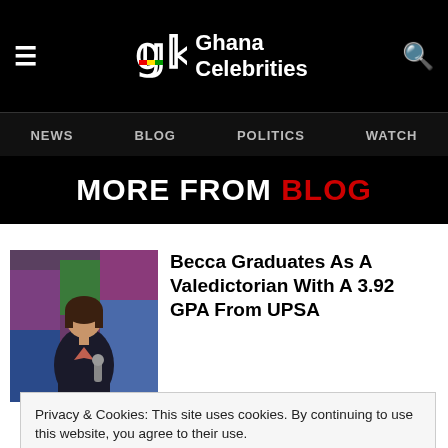Ghana Celebrities
NEWS  BLOG  POLITICS  WATCH
MORE FROM BLOG
Becca Graduates As A Valedictorian With A 3.92 GPA From UPSA
[Figure (photo): Photo of Becca standing on stage in a dark suit holding a microphone, colorful panels in background]
Privacy & Cookies: This site uses cookies. By continuing to use this website, you agree to their use.
To find out more, including how to control cookies, see here:
Cookie Policy
Close and Accept